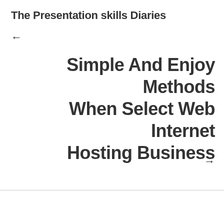The Presentation skills Diaries
←
Simple And Enjoy Methods When Select Web Internet Hosting Business
→